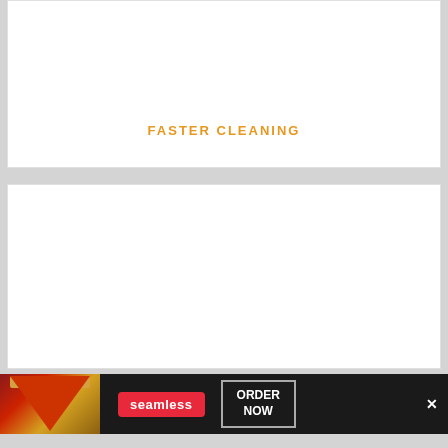[Figure (other): White card panel with faded/redacted text content area]
FASTER CLEANING
[Figure (other): Second white card panel with faded/redacted text content area]
[Figure (other): Seamless food ordering advertisement banner with pizza image, seamless logo in red, ORDER NOW button, and close (X) button on dark background]